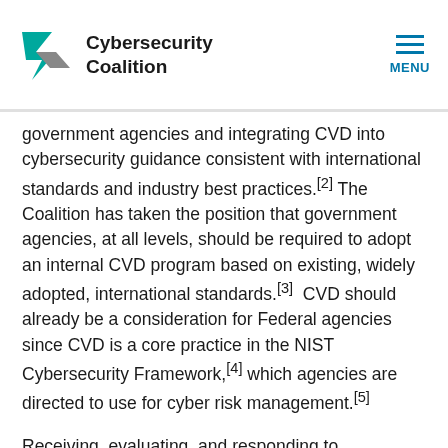Cybersecurity Coalition
government agencies and integrating CVD into cybersecurity guidance consistent with international standards and industry best practices.[2] The Coalition has taken the position that government agencies, at all levels, should be required to adopt an internal CVD program based on existing, widely adopted, international standards.[3]  CVD should already be a consideration for Federal agencies since CVD is a core practice in the NIST Cybersecurity Framework,[4] which agencies are directed to use for cyber risk management.[5]
Receiving, evaluating, and responding to vulnerability disclosures will require resources.